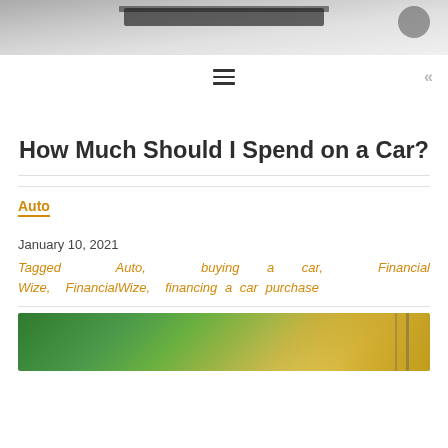[Figure (photo): Partial view of a laptop screen with financial data, cropped at the top of the page]
≡  «
How Much Should I Spend on a Car?
Auto
January 10, 2021
Tagged  Auto,  buying a car,  Financial Wize,  FinancialWize,  financing a car purchase
[Figure (photo): Partial view of a house exterior with trees, bottom of page]